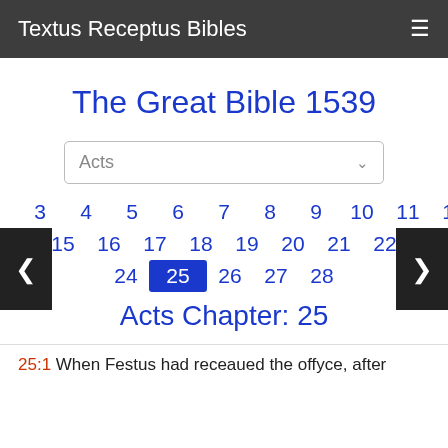Textus Receptus Bibles
The Great Bible 1539
Acts (dropdown selector)
1 2 3 4 5 6 7 8 9 10 11 12 13 14 15 16 17 18 19 20 21 22 23 24 25 26 27 28
Acts Chapter: 25
25:1 When Festus had receaued the offyce, after